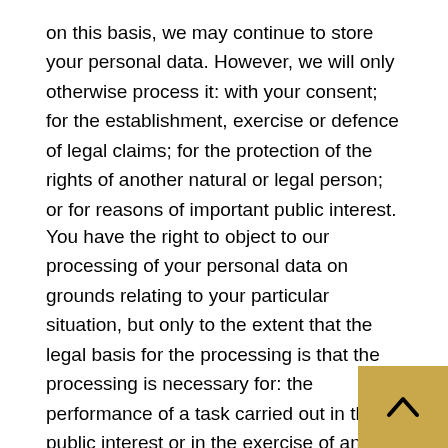on this basis, we may continue to store your personal data. However, we will only otherwise process it: with your consent; for the establishment, exercise or defence of legal claims; for the protection of the rights of another natural or legal person; or for reasons of important public interest.
You have the right to object to our processing of your personal data on grounds relating to your particular situation, but only to the extent that the legal basis for the processing is that the processing is necessary for: the performance of a task carried out in the public interest or in the exercise of any official authority vested in us; or the purposes of the legitimate interests pursued by us or by a third party. If you make such an objection, we will cease to process the personal information unless we can demonstrate compelling legitimate grounds for the processing which override your interests, rights and